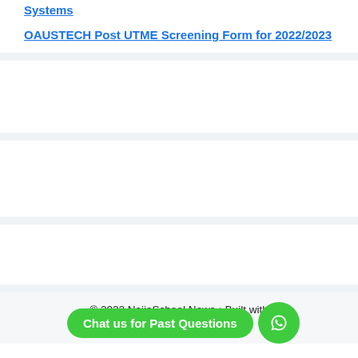Systems
OAUSTECH Post UTME Screening Form for 2022/2023
© 2022 NaijaSchool News • Built with GeneratePress
Chat us for Past Questions